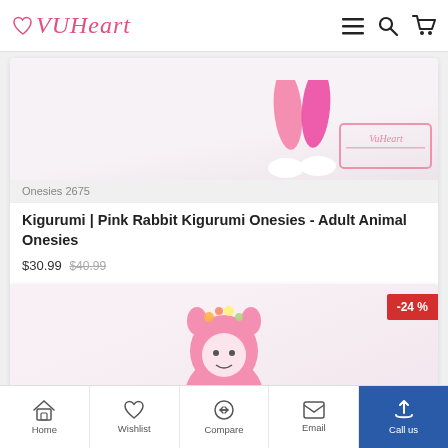VuHeart
[Figure (photo): Pink rabbit kigurumi onesie product image showing legs and feet with VuHeart watermark stamp]
Onesies 2675
Kigurumi | Pink Rabbit Kigurumi Onesies - Adult Animal Onesies
$30.99  $40.99
[Figure (photo): Pink rabbit/animal kigurumi onesie product image showing person wearing pink onesie with hood, -24% discount badge]
Home  Wishlist  Compare  Email  Call us